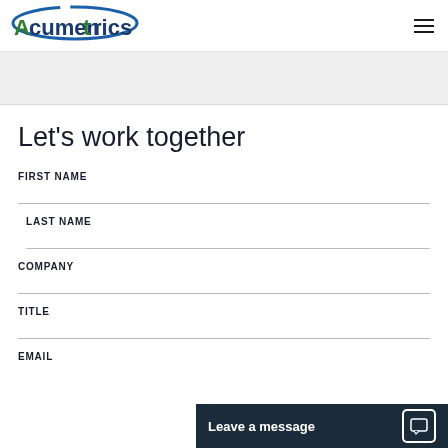[Figure (logo): Acumentrics company logo with blue arc and green/blue text]
Let's work together
FIRST NAME
LAST NAME
COMPANY
TITLE
EMAIL
Leave a message